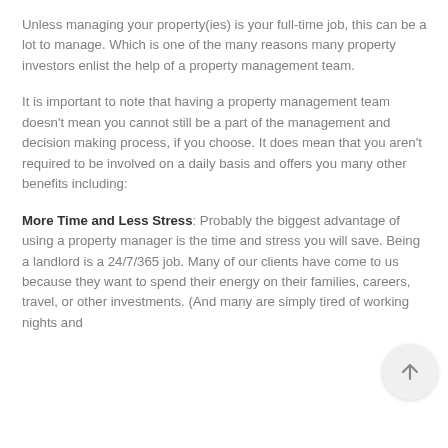Unless managing your property(ies) is your full-time job, this can be a lot to manage. Which is one of the many reasons many property investors enlist the help of a property management team.
It is important to note that having a property management team doesn't mean you cannot still be a part of the management and decision making process, if you choose. It does mean that you aren't required to be involved on a daily basis and offers you many other benefits including:
More Time and Less Stress: Probably the biggest advantage of using a property manager is the time and stress you will save. Being a landlord is a 24/7/365 job. Many of our clients have come to us because they want to spend their energy on their families, careers, travel, or other investments. (And many are simply tired of working nights and
[Figure (other): A circular scroll-to-top button with an upward arrow icon, positioned in the lower-right area of the page.]